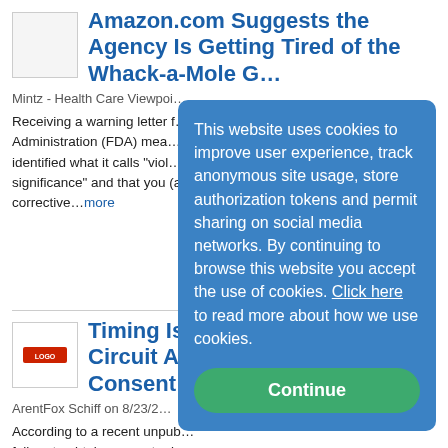Amazon.com Suggests the Agency Is Getting Tired of the Whack-a-Mole G...
Mintz - Health Care Viewpoi...
Receiving a warning letter f... Administration (FDA) mea... identified what it calls "viol... significance" and that you (a... corrective...more
Timing Is Everyt... Circuit Addresse... Consent Requir...
ArentFox Schiff on 8/23/2...
According to a recent unpub... failure to obtain consent pri... technologies is not sufficien... California Invasion of Privacy Act (CIPA). This ruling is notable...more
This website uses cookies to improve user experience, track anonymous site usage, store authorization tokens and permit sharing on social media networks. By continuing to browse this website you accept the use of cookies. Click here to read more about how we use cookies.